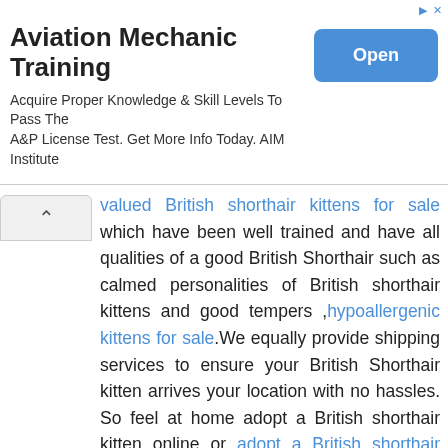[Figure (other): Advertisement banner for Aviation Mechanic Training from AIM Institute with an Open button]
trained and have all qualities of a good British Shorthair such as calmed personalities of British shorthair kittens and good tempers ,hypoallergenic kittens for sale.We equally provide shipping services to ensure your British Shorthair kitten arrives your location with no hassles. So feel at home adopt a British shorthair kitten online or adopt a British shorthair kitten near me with ease.
Welcome to our farm where we breed Registered pomeranian puppies for sale.As a registered pomeranian puppies breeder, we have made it possible for pomeranian puppy lovers to
buy pomeranian puppies online,buy zwergpitz pomeranian from our family run farm. Pomeranian dogs are small dogs with a weight of 1.36 to 3.17 kg and a withers height of 15 to 18 cm. They are compact but robust dogs with a lush, textured coat and a tall and flat tail. The top coat forms a fur ruff on the neck, for which poms are known, and on the